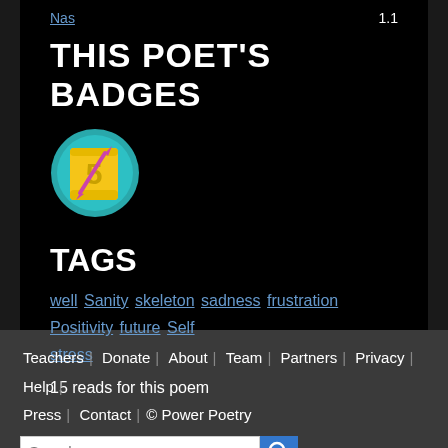Nas   1.1
THIS POET'S BADGES
[Figure (illustration): A circular badge with teal/cyan border, featuring a yellow scroll/paper with the number 5 and a pink/purple quill pen overlaid on it.]
TAGS
well Sanity skeleton sadness frustration Positivity future Self stress
15 reads for this poem
Teachers | Donate | About | Team | Partners | Privacy | Help | Press | Contact | © Power Poetry